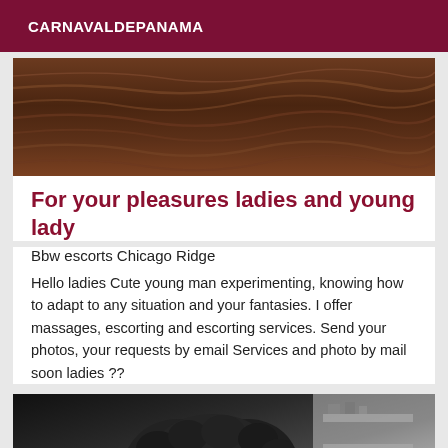CARNAVALDEPANAMA
[Figure (photo): Close-up photo of a dark brown rippled wood or water texture surface]
For your pleasures ladies and young lady
Bbw escorts Chicago Ridge
Hello ladies Cute young man experimenting, knowing how to adapt to any situation and your fantasies. I offer massages, escorting and escorting services. Send your photos, your requests by email Services and photo by mail soon ladies ??
[Figure (photo): Photo of a person with curly dark hair, partial view, indoor setting with shelves in background]